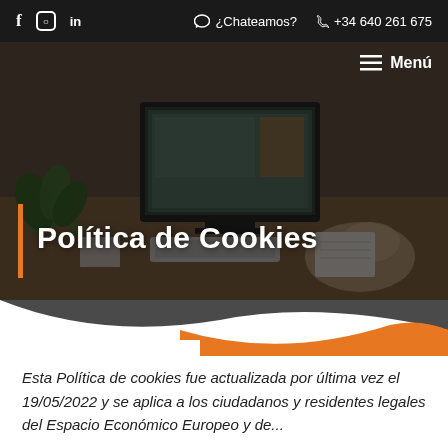f  ○  in  ¿Chateamos?  +34 640 261 675
[Figure (photo): Hero image showing a person working at a computer desk with a monitor, keyboard and plant, with dark overlay. Includes navigation menu button (Menú) at top right.]
Política de Cookies
Esta Política de cookies fue actualizada por última vez el 19/05/2022 y se aplica a los ciudadanos y residentes legales del Espacio Económico Europeo y de...